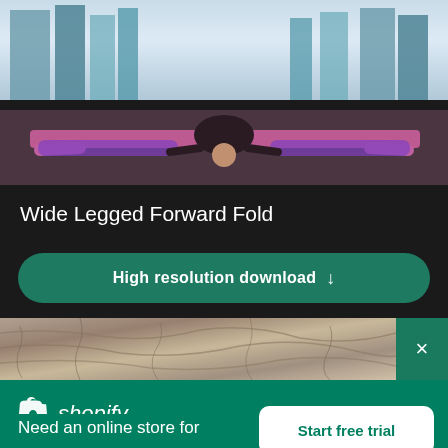[Figure (photo): Person doing Wide Legged Forward Fold yoga pose on a pink mat on a rooftop, with city skyscrapers in the background. Person is wearing colorful patterned leggings.]
Wide Legged Forward Fold
High resolution download ↓
[Figure (photo): Partial view of a rocky/stone texture surface.]
[Figure (logo): Shopify logo — shopping bag icon and italic 'shopify' text in white on green background.]
Need an online store for your business?
Start free trial